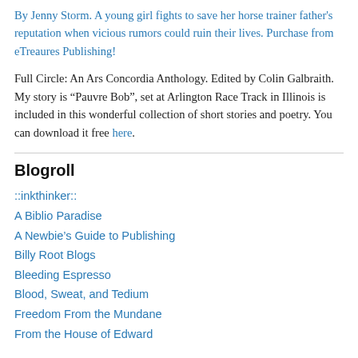By Jenny Storm. A young girl fights to save her horse trainer father's reputation when vicious rumors could ruin their lives. Purchase from eTreaures Publishing!
Full Circle: An Ars Concordia Anthology. Edited by Colin Galbraith. My story is “Pauvre Bob”, set at Arlington Race Track in Illinois is included in this wonderful collection of short stories and poetry. You can download it free here.
Blogroll
::inkthinker::
A Biblio Paradise
A Newbie’s Guide to Publishing
Billy Root Blogs
Bleeding Espresso
Blood, Sweat, and Tedium
Freedom From the Mundane
From the House of Edward